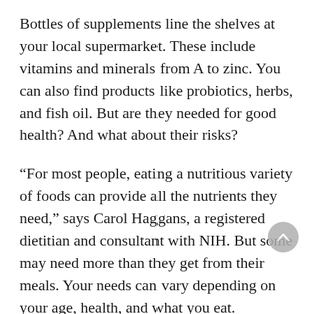Bottles of supplements line the shelves at your local supermarket. These include vitamins and minerals from A to zinc. You can also find products like probiotics, herbs, and fish oil. But are they needed for good health? And what about their risks?
“For most people, eating a nutritious variety of foods can provide all the nutrients they need,” says Carol Haggans, a registered dietitian and consultant with NIH. But some may need more than they get from their meals. Your needs can vary depending on your age, health, and what you eat.